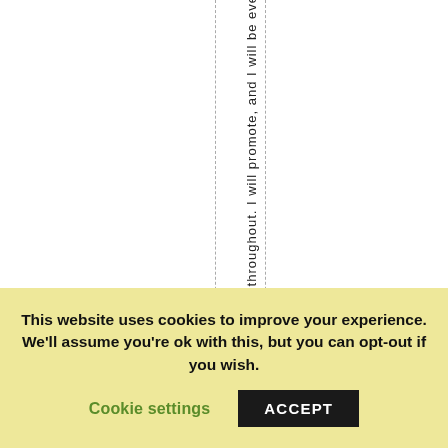throughout. I will promote, and I will be eve...
This website uses cookies to improve your experience. We'll assume you're ok with this, but you can opt-out if you wish.
Cookie settings
ACCEPT